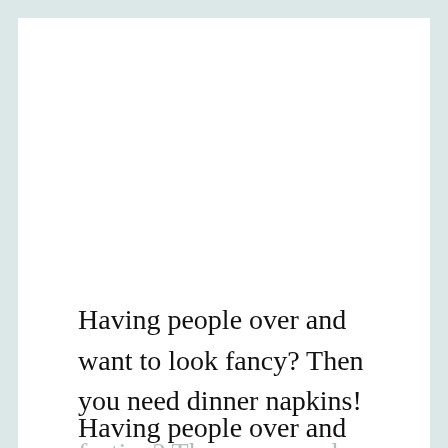Having people over and want to look fancy? Then you need dinner napkins!
Having people over and want to look festive? Then you need dinner